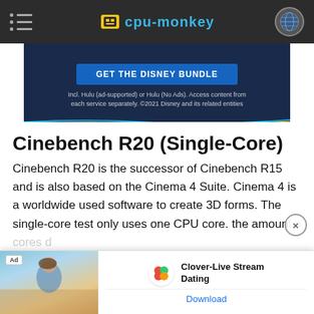cpu-monkey
[Figure (screenshot): Disney Bundle advertisement banner with blue background, 'GET THE DISNEY BUNDLE' button, and small text about Hulu and Disney services]
Cinebench R20 (Single-Core)
Cinebench R20 is the successor of Cinebench R15 and is also based on the Cinema 4 Suite. Cinema 4 is a worldwide used software to create 3D forms. The single-core test only uses one CPU core. the amount of cores d...
[Figure (screenshot): Clover-Live Stream Dating app advertisement overlay with photo of woman on beach, app logo, name, and Download button]